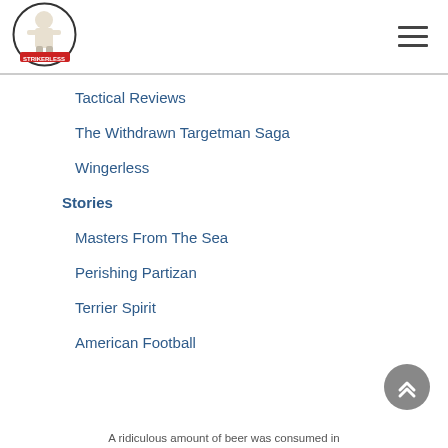StrikerLess logo and navigation menu icon
Tactical Reviews
The Withdrawn Targetman Saga
Wingerless
Stories
Masters From The Sea
Perishing Partizan
Terrier Spirit
American Football
A ridiculous amount of beer was consumed in